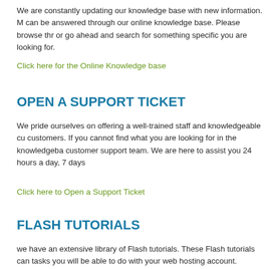We are constantly updating our knowledge base with new information. M can be answered through our online knowledge base. Please browse thr or go ahead and search for something specific you are looking for.
Click here for the Online Knowledge base
OPEN A SUPPORT TICKET
We pride ourselves on offering a well-trained staff and knowledgeable cu customers. If you cannot find what you are looking for in the knowledgeba customer support team. We are here to assist you 24 hours a day, 7 days
Click here to Open a Support Ticket
FLASH TUTORIALS
we have an extensive library of Flash tutorials. These Flash tutorials can tasks you will be able to do with your web hosting account.